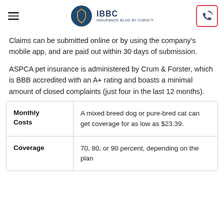IBBC INSURANCE BLOG BY CHRIS™
Claims can be submitted online or by using the company's mobile app, and are paid out within 30 days of submission.
ASPCA pet insurance is administered by Crum & Forster, which is BBB accredited with an A+ rating and boasts a minimal amount of closed complaints (just four in the last 12 months).
|  |  |
| --- | --- |
| Monthly Costs | A mixed breed dog or pure-bred cat can get coverage for as low as $23.39. |
| Coverage | 70, 80, or 90 percent, depending on the plan |